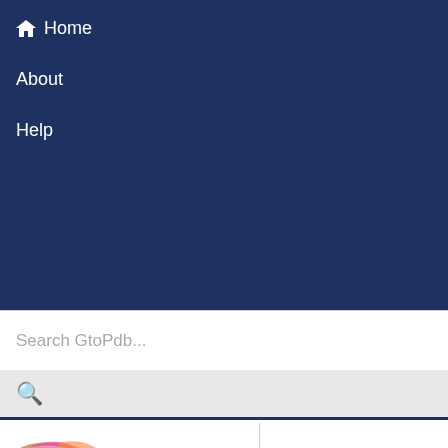Home
About
Help
Search GtoPdb...
[Figure (illustration): Partial protein structure image showing colorful ribbon diagram of a protein]
Enzyme Reaction
EC Number: 2.7.10.1
Natural/Endogenous Ligands
amphiregulin {Sp: Human}